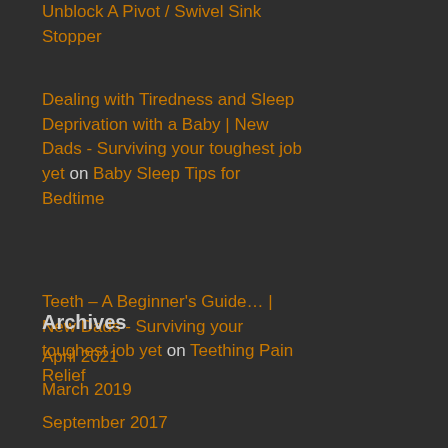Unblock A Pivot / Swivel Sink Stopper
Dealing with Tiredness and Sleep Deprivation with a Baby | New Dads - Surviving your toughest job yet on Baby Sleep Tips for Bedtime
Teeth – A Beginner's Guide… | New Dads - Surviving your toughest job yet on Teething Pain Relief
Archives
April 2021
March 2019
September 2017